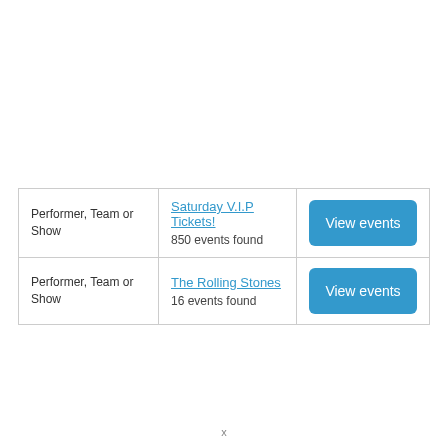|  |  |  |
| --- | --- | --- |
| Performer, Team or Show | Saturday V.I.P Tickets!
850 events found | View events |
| Performer, Team or Show | The Rolling Stones
16 events found | View events |
x